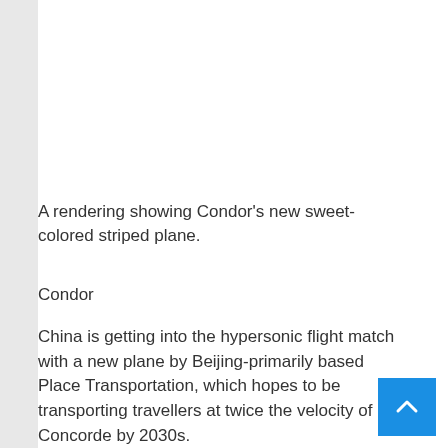[Figure (photo): White blank area representing an image placeholder for a rendering of Condor's new sweet-colored striped plane.]
A rendering showing Condor's new sweet-colored striped plane.
Condor
China is getting into the hypersonic flight match with a new plane by Beijing-primarily based Place Transportation, which hopes to be transporting travellers at twice the velocity of Concorde by 2030s.